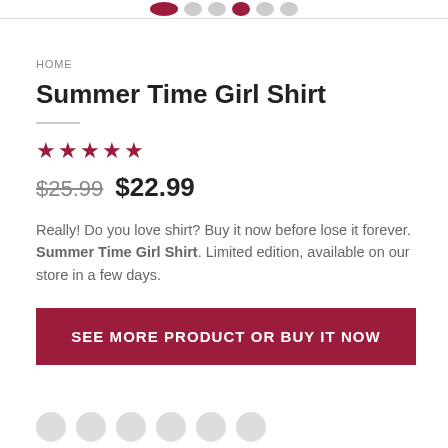HOME
Summer Time Girl Shirt
★★★★★
$25.99  $22.99
Really! Do you love shirt? Buy it now before lose it forever. Summer Time Girl Shirt. Limited edition, available on our store in a few days.
SEE MORE PRODUCT OR BUY IT NOW